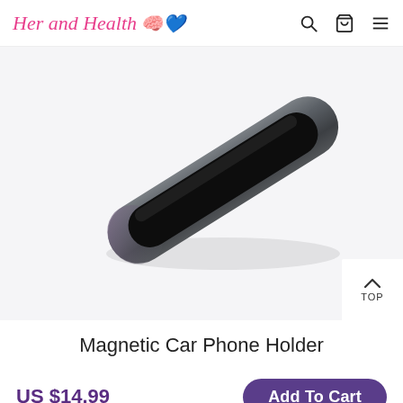Her and Health
[Figure (photo): A magnetic car phone holder product shot — a rounded rectangular strip device with dark metallic gunmetal/chrome body and a black magnetic surface on top, photographed diagonally on a white background.]
Magnetic Car Phone Holder
US $14.99
Add To Cart